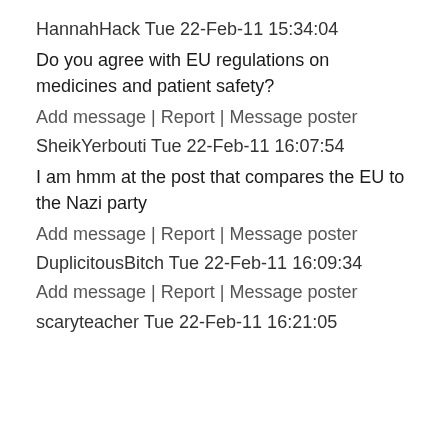HannahHack Tue 22-Feb-11 15:34:04
Do you agree with EU regulations on medicines and patient safety?
Add message | Report | Message poster
SheikYerbouti Tue 22-Feb-11 16:07:54
I am hmm at the post that compares the EU to the Nazi party
Add message | Report | Message poster
DuplicitousBitch Tue 22-Feb-11 16:09:34
Add message | Report | Message poster
scaryteacher Tue 22-Feb-11 16:21:05